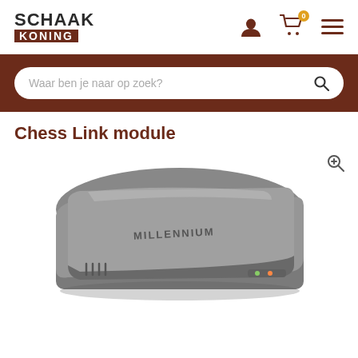SCHAAK KONING — navigation header with user, cart (0), menu icons
Waar ben je naar op zoek?
Chess Link module
[Figure (photo): Photo of a Millennium Chess Link module — a grey rectangular electronic device with rounded corners, vents on the left side, Millennium logo on top, and status/power indicator lights on the front right edge.]